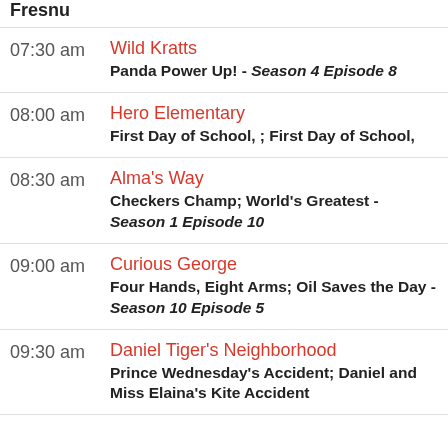Fresnu
07:30 am | Wild Kratts | Panda Power Up! - Season 4 Episode 8
08:00 am | Hero Elementary | First Day of School, ; First Day of School,
08:30 am | Alma's Way | Checkers Champ; World's Greatest - Season 1 Episode 10
09:00 am | Curious George | Four Hands, Eight Arms; Oil Saves the Day - Season 10 Episode 5
09:30 am | Daniel Tiger's Neighborhood | Prince Wednesday's Accident; Daniel and Miss Elaina's Kite Accident